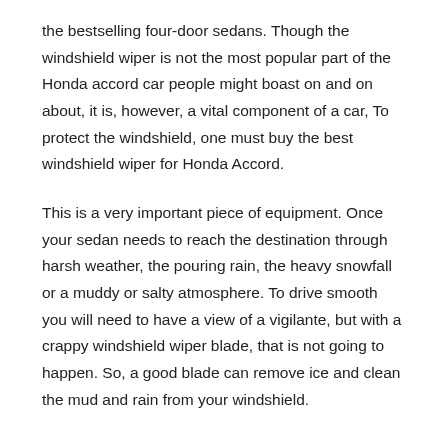the bestselling four-door sedans. Though the windshield wiper is not the most popular part of the Honda accord car people might boast on and on about, it is, however, a vital component of a car, To protect the windshield, one must buy the best windshield wiper for Honda Accord.
This is a very important piece of equipment. Once your sedan needs to reach the destination through harsh weather, the pouring rain, the heavy snowfall or a muddy or salty atmosphere. To drive smooth you will need to have a view of a vigilante, but with a crappy windshield wiper blade, that is not going to happen. So, a good blade can remove ice and clean the mud and rain from your windshield.